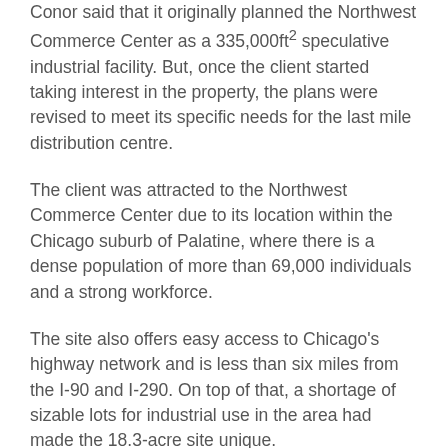Conor said that it originally planned the Northwest Commerce Center as a 335,000ft² speculative industrial facility. But, once the client started taking interest in the property, the plans were revised to meet its specific needs for the last mile distribution centre.
The client was attracted to the Northwest Commerce Center due to its location within the Chicago suburb of Palatine, where there is a dense population of more than 69,000 individuals and a strong workforce.
The site also offers easy access to Chicago's highway network and is less than six miles from the I-90 and I-290. On top of that, a shortage of sizable lots for industrial use in the area had made the 18.3-acre site unique.
Conor executive vice president Brian Quigley said: “The site plan for this project is unique for an industrial development, it is designed to allow for efficient loading and high throughput of 600 Sprinter vans for last-mile deliveries.”